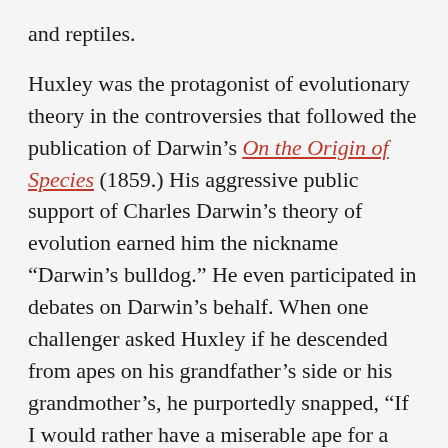and reptiles.
Huxley was the protagonist of evolutionary theory in the controversies that followed the publication of Darwin's On the Origin of Species (1859.) His aggressive public support of Charles Darwin's theory of evolution earned him the nickname “Darwin’s bulldog.” He even participated in debates on Darwin’s behalf. When one challenger asked Huxley if he descended from apes on his grandfather’s side or his grandmother’s, he purportedly snapped, “If I would rather have a miserable ape for a grandfather or a man highly endowed by nature and possessed of great means and influence, and yet who employs